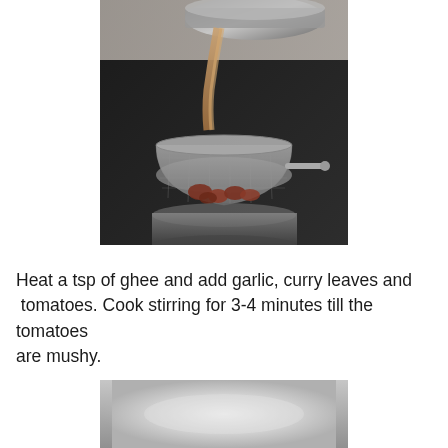[Figure (photo): A wok pouring a liquid (broth or sauce) through a metal mesh strainer/colander set over a pot. The strainer contains kidney beans or similar legumes. The scene is on a dark stovetop in a kitchen.]
Heat a tsp of ghee and add garlic, curry leaves and tomatoes. Cook stirring for 3-4 minutes till the tomatoes are mushy.
[Figure (photo): Top view of a large stainless steel pot or pan showing its empty interior with a light grey/silver surface.]